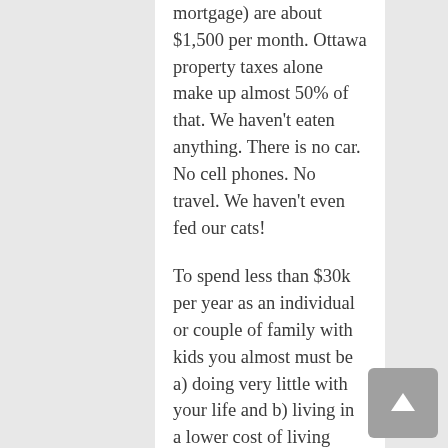mortgage) are about $1,500 per month. Ottawa property taxes alone make up almost 50% of that. We haven't eaten anything. There is no car. No cell phones. No travel. We haven't even fed our cats!
To spend less than $30k per year as an individual or couple of family with kids you almost must be a) doing very little with your life and b) living in a lower cost of living area.